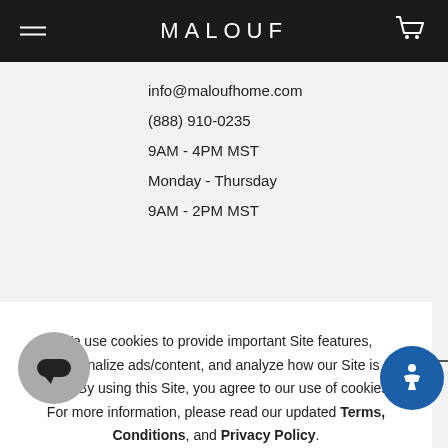MALOUF
info@maloufhome.com
(888) 910-0235
9AM - 4PM MST
Monday - Thursday
9AM - 2PM MST
We use cookies to provide important Site features, personalize ads/content, and analyze how our Site is used. By using this Site, you agree to our use of cookies. For more information, please read our updated Terms, Conditions, and Privacy Policy.
Accept
Deny